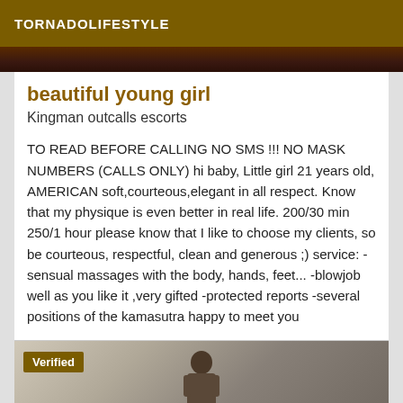TORNADOLIFESTYLE
[Figure (photo): Top portion of a photo showing a dark reddish-brown background, cropped at the top of the page]
beautiful young girl
Kingman outcalls escorts
TO READ BEFORE CALLING NO SMS !!! NO MASK NUMBERS (CALLS ONLY) hi baby, Little girl 21 years old, AMERICAN soft,courteous,elegant in all respect. Know that my physique is even better in real life. 200/30 min 250/1 hour please know that I like to choose my clients, so be courteous, respectful, clean and generous ;) service: -sensual massages with the body, hands, feet... -blowjob well as you like it ,very gifted -protected reports -several positions of the kamasutra happy to meet you
[Figure (photo): Bottom photo showing a person standing in a room, with a 'Verified' badge overlay in the top-left corner]